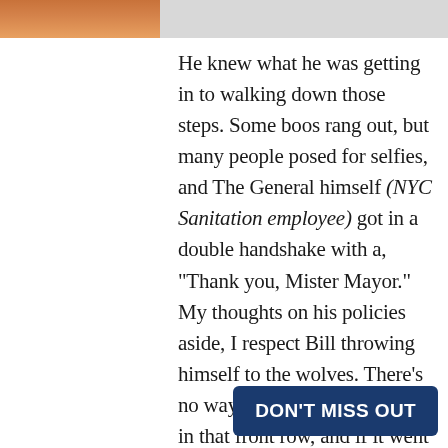[Figure (photo): Partial photo strip at top showing people in orange and striped clothing, cropped]
He knew what he was getting in to walking down those steps. Some boos rang out, but many people posed for selfies, and The General himself (NYC Sanitation employee) got in a double handshake with a, "Thank you, Mister Mayor." My thoughts on his policies aside, I respect Bill throwing himself to the wolves. There's no way out once you're down in that front row, and if it went poorly, it would be a long walk back up that flight of stairs.
He asked if running The 7 Line was my full-time gig. I told him, "It is, until I run for Mayor." He looked around and
DON'T MISS OUT